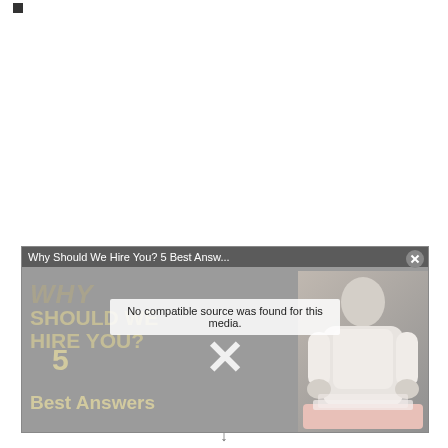[Figure (screenshot): Small black square bullet/marker in top-left corner of page]
[Figure (screenshot): Video player overlay popup showing 'Why Should We Hire You? 5 Best Answ...' title bar with close button. Center shows 'No compatible source was found for this media.' message with a large X dismiss button. Background shows stylized text 'SHOULD WE HIRE YOU? 5 Best Answers' with a person in white shirt on the right side.]
↓